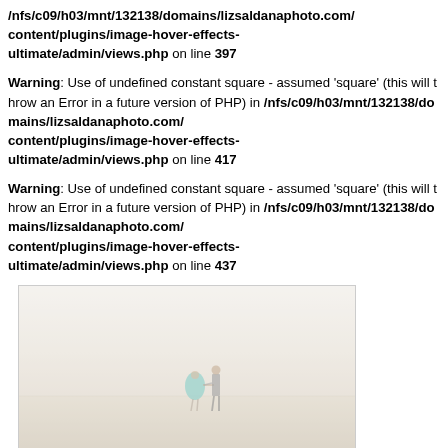/nfs/c09/h03/mnt/132138/domains/lizsaldanaphoto.com/content/plugins/image-hover-effects-ultimate/admin/views.php on line 397
Warning: Use of undefined constant square - assumed 'square' (this will throw an Error in a future version of PHP) in /nfs/c09/h03/mnt/132138/domains/lizsaldanaphoto.com/content/plugins/image-hover-effects-ultimate/admin/views.php on line 417
Warning: Use of undefined constant square - assumed 'square' (this will throw an Error in a future version of PHP) in /nfs/c09/h03/mnt/132138/domains/lizsaldanaphoto.com/content/plugins/image-hover-effects-ultimate/admin/views.php on line 437
[Figure (photo): A faded/foggy beach photo showing two people (a couple) holding hands, one wearing a teal/green dress, walking away from the camera on a sandy beach.]